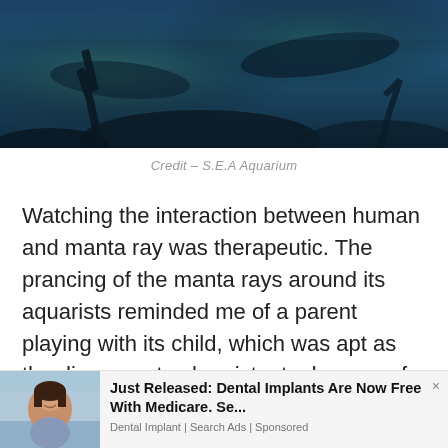[Figure (photo): Photo of manta rays and aquarists at S.E.A Aquarium, dark blue-teal water with underwater scene visible at top]
Credit – S.E.A Aquarium
Watching the interaction between human and manta ray was therapeutic. The prancing of the manta rays around its aquarists reminded me of a parent playing with its child, which was apt as the diver-manta chemistry took years of nurturing and conditioning. This experience thoroughly changed my perception of manta rays; the affection they exuded is something I would never forget.
[Figure (photo): Advertisement banner showing a smiling woman outdoors, with text 'Just Released: Dental Implants Are Now Free With Medicare. Se...' and 'Dental Implant | Search Ads | Sponsored']